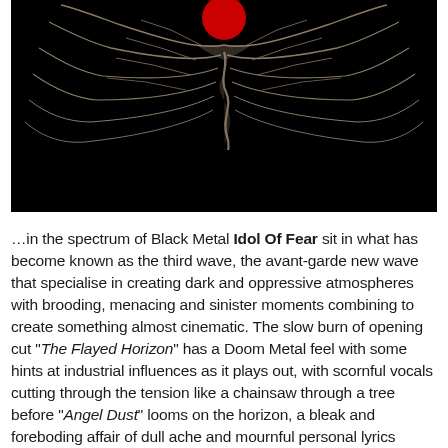[Figure (illustration): Album artwork on black background featuring wings and snake motif with a red circular element at the top]
…in the spectrum of Black Metal Idol Of Fear sit in what has become known as the third wave, the avant-garde new wave that specialise in creating dark and oppressive atmospheres with brooding, menacing and sinister moments combining to create something almost cinematic. The slow burn of opening cut "The Flayed Horizon" has a Doom Metal feel with some hints at industrial influences as it plays out, with scornful vocals cutting through the tension like a chainsaw through a tree before "Angel Dust" looms on the horizon, a bleak and foreboding affair of dull ache and mournful personal lyrics centered around loss. Melody from piano